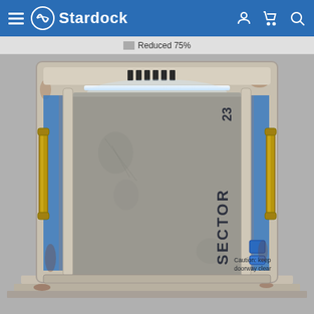Stardock
Reduced 75%
[Figure (screenshot): A sci-fi style airlock or space station door rendered in 3D. The door frame is beige/tan colored metal with blue accent panels and rust stains. Two gold/brass vertical handle bars flank either side. The door itself is a large gray sliding panel with the text 'SECTOR 23' written vertically in dark lettering on the right side. At the bottom right of the door panel it reads 'Caution: keep doorway clear'. The top of the frame has six vertical black bars and an illuminated white light strip. The whole unit sits on a stepped platform base.]